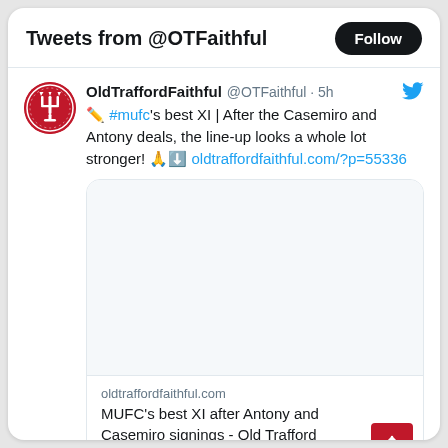Tweets from @OTFaithful
OldTraffordFaithful @OTFaithful · 5h
✏️ #mufc's best XI | After the Casemiro and Antony deals, the line-up looks a whole lot stronger! 🙏⬇️ oldtraffordfaithful.com/?p=55336
[Figure (screenshot): Empty link card image preview area]
oldtraffordfaithful.com
MUFC's best XI after Antony and Casemiro signings - Old Trafford Faithful